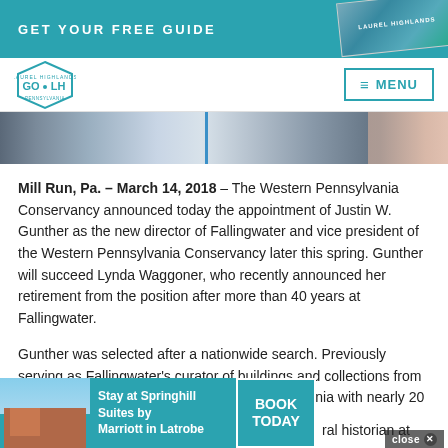GET YOUR FREE GUIDE
[Figure (screenshot): Navigation bar with GO·LH Laurel Highlands logo hexagon on left and MENU button on right]
[Figure (photo): Close-up photo strip of fabric or textile with blue vertical stripe]
Mill Run, Pa. – March 14, 2018 – The Western Pennsylvania Conservancy announced today the appointment of Justin W. Gunther as the new director of Fallingwater and vice president of the Western Pennsylvania Conservancy later this spring. Gunther will succeed Lynda Waggoner, who recently announced her retirement from the position after more than 40 years at Fallingwater.
Gunther was selected after a nationwide search. Previously serving as Fallingwater's curator of buildings and collections from 2007 to 2011, Gunther is returning to Pennsylvania with nearly 20 years of experience deeply rooted in historic
[Figure (screenshot): Advertisement banner: Stay at Springhill Suites by Marriott in Latrobe with BOOK TODAY button]
ral historian at